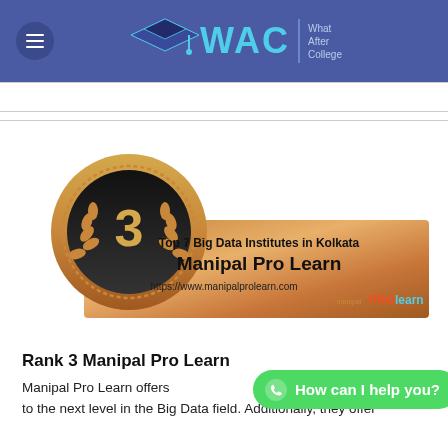WAC | What After College
[Figure (illustration): Bronze medal badge with number 3 and laurel wreath, with a banner reading 'Top 7 Big Data Institutes in Kolkata - Manipal Pro Learn - https://www.manipalprolearn.com' with the Manipal ProLearn logo]
Rank 3 Manipal Pro Learn
Manipal Pro Learn offers to the next level in the Big Data field. Additionally, they offer